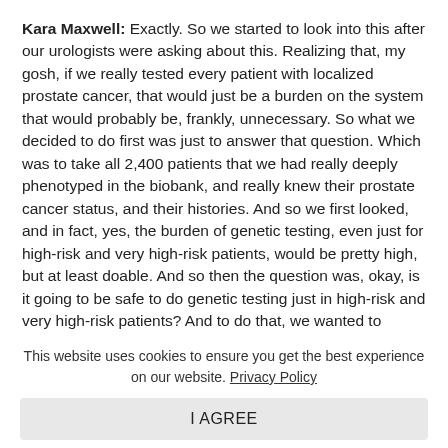Kara Maxwell: Exactly. So we started to look into this after our urologists were asking about this. Realizing that, my gosh, if we really tested every patient with localized prostate cancer, that would just be a burden on the system that would probably be, frankly, unnecessary. So what we decided to do first was just to answer that question. Which was to take all 2,400 patients that we had really deeply phenotyped in the biobank, and really knew their prostate cancer status, and their histories. And so we first looked, and in fact, yes, the burden of genetic testing, even just for high-risk and very high-risk patients, would be pretty high, but at least doable. And so then the question was, okay, is it going to be safe to do genetic testing just in high-risk and very high-risk patients? And to do that, we wanted to understand what the DNA repair mutation spectrum rate was in spectrums across
This website uses cookies to ensure you get the best experience on our website. Privacy Policy
I AGREE